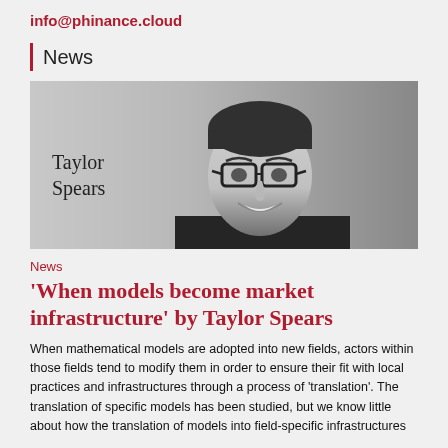info@phinance.cloud
News
[Figure (photo): Black and white portrait photo of Taylor Spears, a man wearing glasses and a dark suit jacket, smiling. His name 'Taylor Spears' is overlaid on the left side of the image.]
News
‘When models become market infrastructure’ by Taylor Spears
When mathematical models are adopted into new fields, actors within those fields tend to modify them in order to ensure their fit with local practices and infrastructures through a process of ‘translation’. The translation of specific models has been studied, but we know little about how the translation of models into field-specific infrastructures